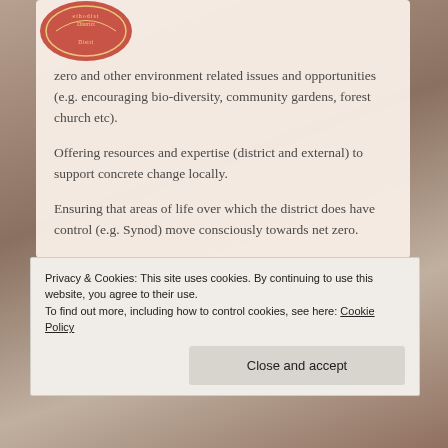[Figure (logo): Methodist District circular logo/seal in red and gold tones]
zero and other environment related issues and opportunities (e.g. encouraging bio-diversity, community gardens, forest church etc).
Offering resources and expertise (district and external) to support concrete change locally.
Ensuring that areas of life over which the district does have control (e.g. Synod) move consciously towards net zero.
Privacy & Cookies: This site uses cookies. By continuing to use this website, you agree to their use.
To find out more, including how to control cookies, see here: Cookie Policy
Close and accept